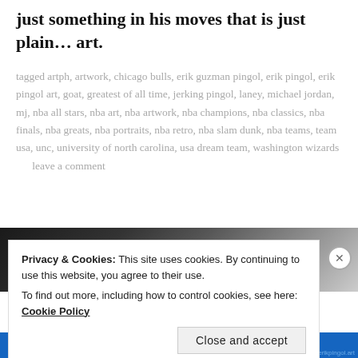just something in his moves that is just plain… art.
tagged artph, artwork, chicago bulls, erik guzman pingol, erik pingol, erik pingol art, goat, greatest of all time, jerking pingol, laney, michael jordan, mj, nba all stars, nba art, nba artwork, nba champions, nba classics, nba finals, nba greats, nba portraits, nba retro, nba slam dunk, nba teams, team usa, unc, university of north carolina, usa dream team, washington wizards      leave a comment
[Figure (photo): Dark image of a basketball player, partial view showing top of head on dark background with textured pattern]
Privacy & Cookies: This site uses cookies. By continuing to use this website, you agree to their use.
To find out more, including how to control cookies, see here: Cookie Policy
Close and accept